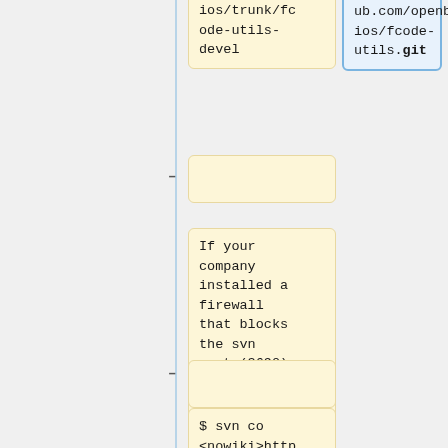ios/trunk/fcode-utils-devel
ub.com/openbios/fcode-utils.git
-
If your company installed a firewall that blocks the svn port (3690) you can also check out using the webdav frontend:
-
$ svn co
<nowiki>http
-